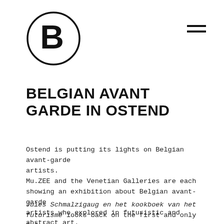[Figure (logo): Circular logo with large bold letter B in the center, black circle outline on white background]
[Figure (other): Hamburger menu icon — three horizontal black lines stacked vertically]
BELGIAN AVANT GARDE IN OSTEND
Ostend is putting its lights on Belgian avant-garde artists.
Mu.ZEE and the Venetian Galleries are each showing an exhibition about Belgian avant-garde artists who explored in futuristic and abstract art.
Jules Schmalzigaug en het kookboek van het futurisme looks back on the first and only Belgian